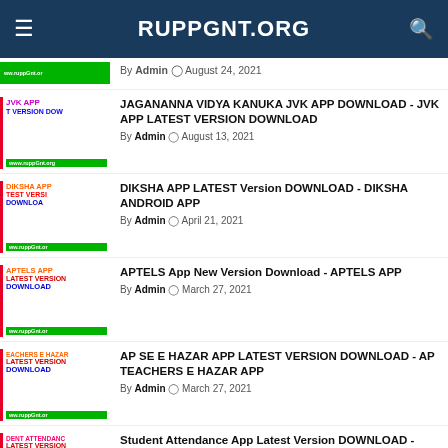RUPPGNT.ORG
By Admin August 24, 2021
JAGANANNA VIDYA KANUKA JVK APP DOWNLOAD - JVK APP LATEST VERSION DOWNLOAD
By Admin August 13, 2021
DIKSHA APP LATEST Version DOWNLOAD - DIKSHA ANDROID APP
By Admin April 21, 2021
APTELS App New Version Download - APTELS APP
By Admin March 27, 2021
AP SE E HAZAR APP LATEST VERSION DOWNLOAD - AP TEACHERS E HAZAR APP
By Admin March 27, 2021
Student Attendance App Latest Version DOWNLOAD - Student Attendance App
By Admin March 27, 2021